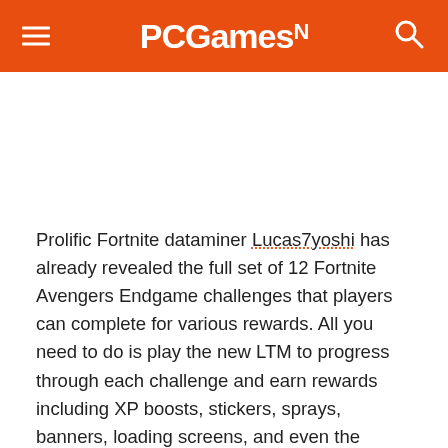PCGamesN
Prolific Fortnite dataminer Lucas7yoshi has already revealed the full set of 12 Fortnite Avengers Endgame challenges that players can complete for various rewards. All you need to do is play the new LTM to progress through each challenge and earn rewards including XP boosts, stickers, sprays, banners, loading screens, and even the Quinjet Glider.
[Figure (other): Gray placeholder box for an embedded content element]